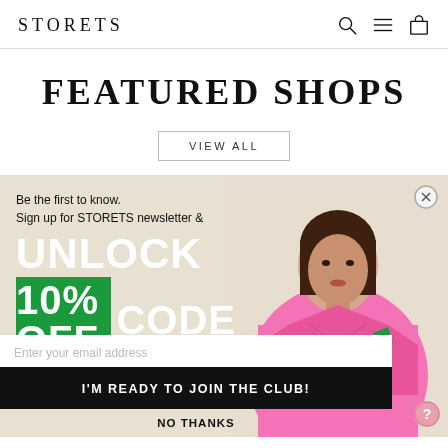STORETS
FEATURED SHOPS
VIEW ALL
[Figure (screenshot): Newsletter signup popup modal with a woman wearing a pink blazer. Text reads: Be the first to know. Sign up for STORETS newsletter & UNLOCK 10% OFF CODE. Email input field and join button.]
Be the first to know. Sign up for STORETS newsletter &
UNLOCK
10% OFF CODE
Enter your email address
I'M READY TO JOIN THE CLUB!
NO THANKS